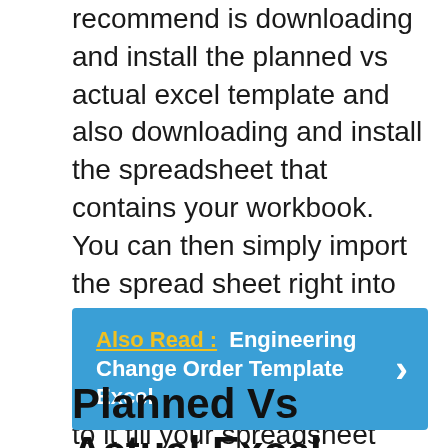recommend is downloading and install the planned vs actual excel template and also downloading and install the spreadsheet that contains your workbook. You can then simply import the spread sheet right into your workbook as well as maintain including new records and also solutions to it till your spreadsheet has every little thing that you need.
Also Read :  Engineering Change Order Template Excel
Planned Vs Actual Excel Template | How Planned